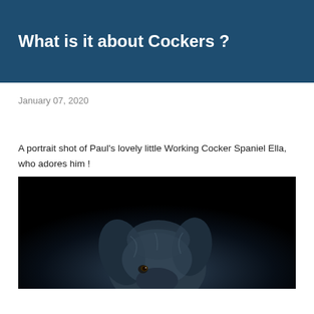What is it about Cockers ?
January 07, 2020
A portrait shot of Paul's lovely little Working Cocker Spaniel Ella, who adores him !
[Figure (photo): A dark, dramatic portrait photograph of a Working Cocker Spaniel dog named Ella, shot against a black background with moody lighting highlighting the dog's fur and one visible eye looking upward.]